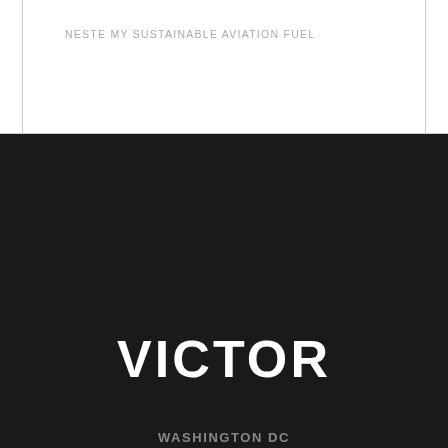NESTE MY SUSTAINABLE AVIATION FUEL
VICTOR
WASHINGTON DC
Tel: +1 877 275 9336
10 G Street, NE
Washington, DC 20002
Suite 600